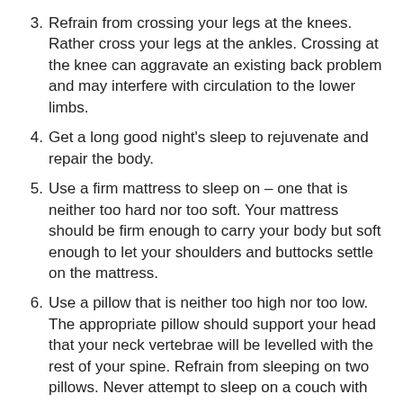3. Refrain from crossing your legs at the knees. Rather cross your legs at the ankles. Crossing at the knee can aggravate an existing back problem and may interfere with circulation to the lower limbs.
4. Get a long good night's sleep to rejuvenate and repair the body.
5. Use a firm mattress to sleep on – one that is neither too hard nor too soft. Your mattress should be firm enough to carry your body but soft enough to let your shoulders and buttocks settle on the mattress.
6. Use a pillow that is neither too high nor too low. The appropriate pillow should support your head that your neck vertebrae will be levelled with the rest of your spine. Refrain from sleeping on two pillows. Never attempt to sleep on a couch with your head on an armrest.